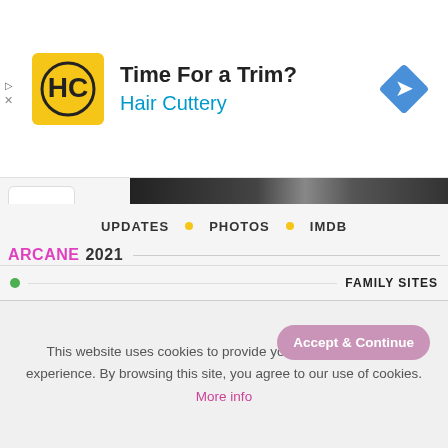[Figure (infographic): Hair Cuttery advertisement banner with logo, text 'Time For a Trim?' and 'Hair Cuttery', and a navigation diamond icon]
[Figure (photo): Dark banner image from the Arcane 2021 TV show]
ARCANE 2021
The origins of two iconic League champions, set in the utopian Piltover and the oppressed underground of Zaun.
UPDATES • PHOTOS • IMDB
• FAMILY SITES
This website uses cookies to provide you the best browsing experience. By browsing this site, you agree to our use of cookies. More info